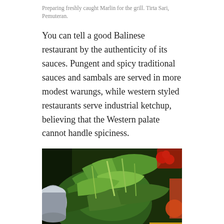Preparing freshly caught Marlin for the grill. Tirta Sari, Pemuteran.
You can tell a good Balinese restaurant by the authenticity of its sauces. Pungent and spicy traditional sauces and sambals are served in more modest warungs, while western styled restaurants serve industrial ketchup, believing that the Western palate cannot handle spiciness.
[Figure (photo): A pile of banana leaves and pandan leaves arranged in a basket at a market, with colorful vegetables and red bags in the background. Watermark reads ALMOST ITALIAN in bottom right corner.]
Preparing the little banana leaf baskets for rice and sauce. Tirta Sari, Pemuteran. Bali